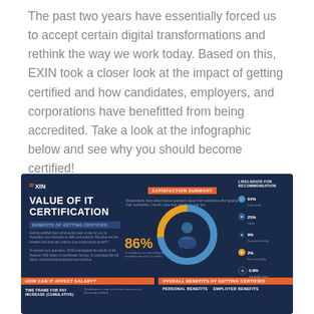The past two years have essentially forced us to accept certain digital transformations and rethink the way we work today. Based on this, EXIN took a closer look at the impact of getting certified and how candidates, employers, and corporations have benefitted from being accredited. Take a look at the infographic below and see why you should become certified!
[Figure (infographic): EXIN Value of IT Certification infographic on dark navy background. Shows satisfaction summary with donut chart (86% of candidates are likely to recertify in next 12 months), likelihood for recommendation stats (Very Likely 64%, Likely 25%, Somewhat Likely 9%, Not very Likely 2%, Not At All Likely 0.8%), Benefits of Getting Certified section, How Can It Affect Salary section with TIME FRAME FOR PAY INCREASE (CUMULATIVE), and Overall Benefits of Getting Certified with Personal Benefits and Employer Benefits columns.]